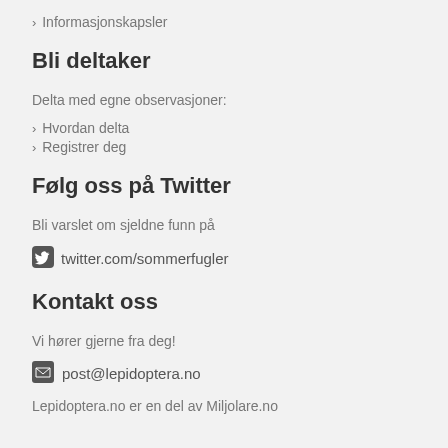> Informasjonskapsler
Bli deltaker
Delta med egne observasjoner:
> Hvordan delta
> Registrer deg
Følg oss på Twitter
Bli varslet om sjeldne funn på
twitter.com/sommerfugler
Kontakt oss
Vi hører gjerne fra deg!
post@lepidoptera.no
Lepidoptera.no er en del av Miljolare.no